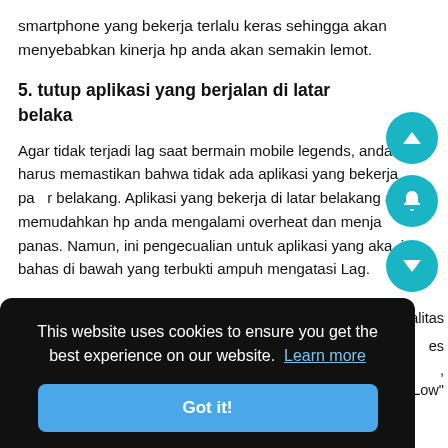smartphone yang bekerja terlalu keras sehingga akan menyebabkan kinerja hp anda akan semakin lemot.
5. tutup aplikasi yang berjalan di latar belaka
Agar tidak terjadi lag saat bermain mobile legends, anda harus memastikan bahwa tidak ada aplikasi yang bekerja pa latar belakang. Aplikasi yang bekerja di latar belakang akan memudahkan hp anda mengalami overheat dan menjadi panas. Namun, ini pengecualian untuk aplikasi yang akan kita bahas di bawah yang terbukti ampuh mengatasi Lag.
This website uses cookies to ensure you get the best experience on our website. Learn more
Got it!
ualitas
es
"Low"